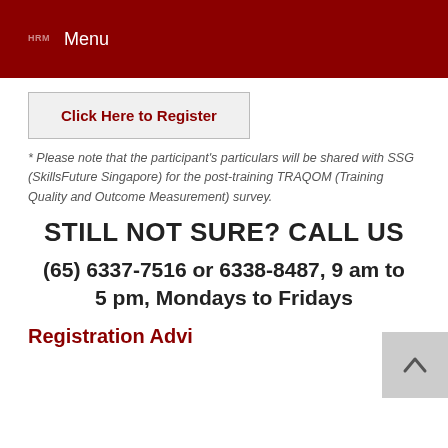HRM Menu
Click Here to Register
* Please note that the participant's particulars will be shared with SSG (SkillsFuture Singapore) for the post-training TRAQOM (Training Quality and Outcome Measurement) survey.
STILL NOT SURE? CALL US
(65) 6337-7516 or 6338-8487, 9 am to 5 pm, Mondays to Fridays
Registration Advi...